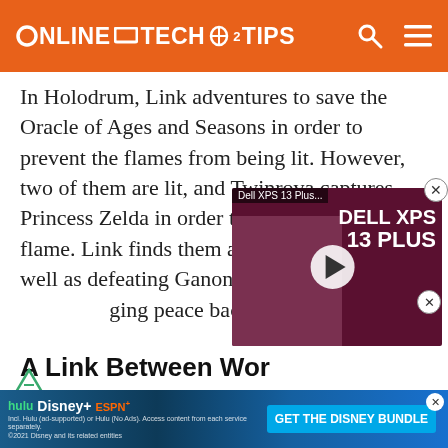ONLINE TECH TIPS
In Holodrum, Link adventures to save the Oracle of Ages and Seasons in order to prevent the flames from being lit. However, two of them are lit, and Twinrova captures Princess Zelda in order to light the third flame. Link finds them and defeats them, as well as defeating Ganon's half-resurrected form, bringing peace back to the land.
[Figure (screenshot): Embedded video player showing Dell XPS 13 Plus review with a person holding glasses, red/purple background, play button overlay. Has close button (X) in top right.]
A Link Between Wor...
A dark wizard named Yuga t... aintings and steals them, as well as kidnapping Zelda. He is able to resurrect some of Ganon's power and us... is able to defe...
[Figure (screenshot): Disney Bundle advertisement banner: Hulu, Disney+, ESPN+ logos with 'GET THE DISNEY BUNDLE' call to action button. Fine print below. Close button (X) at top right.]